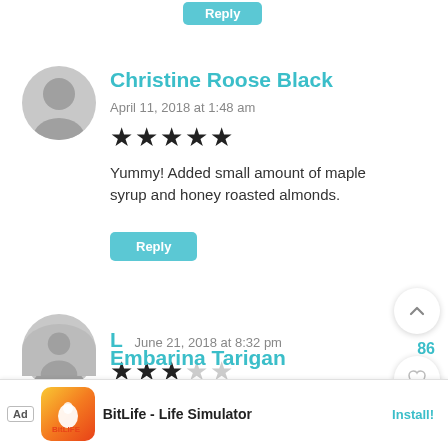[Figure (screenshot): Reply button (teal/cyan) at top of page, partially visible]
Christine Roose Black
April 11, 2018 at 1:48 am
[Figure (other): 5 out of 5 stars rating]
Yummy! Added small amount of maple syrup and honey roasted almonds.
Reply
L  June 21, 2018 at 8:32 pm
[Figure (other): 3 out of 5 stars rating]
Reply
Embarina Tarigan
[Figure (screenshot): Ad banner at bottom: BitLife - Life Simulator with Install button]